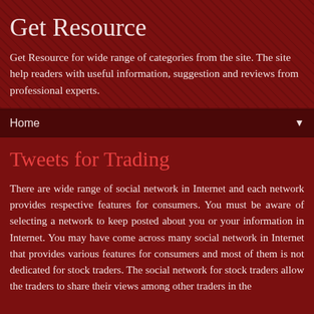Get Resource
Get Resource for wide range of categories from the site. The site help readers with useful information, suggestion and reviews from professional experts.
Home ▼
Tweets for Trading
There are wide range of social network in Internet and each network provides respective features for consumers. You must be aware of selecting a network to keep posted about you or your information in Internet. You may have come across many social network in Internet that provides various features for consumers and most of them is not dedicated for stock traders. The social network for stock traders allow the traders to share their views among other traders in the